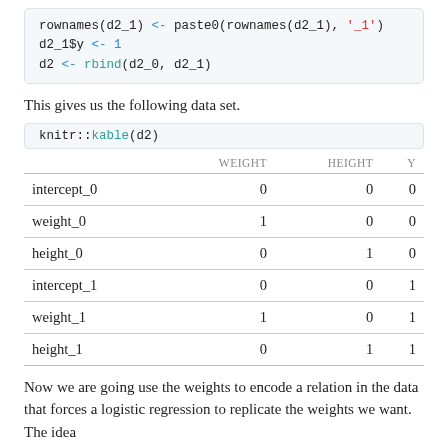rownames(d2_1) <- paste0(rownames(d2_1), '_1')
d2_1$y <- 1
d2 <- rbind(d2_0, d2_1)
This gives us the following data set.
knitr::kable(d2)
|  | WEIGHT | HEIGHT | Y |
| --- | --- | --- | --- |
| intercept_0 | 0 | 0 | 0 |
| weight_0 | 1 | 0 | 0 |
| height_0 | 0 | 1 | 0 |
| intercept_1 | 0 | 0 | 1 |
| weight_1 | 1 | 0 | 1 |
| height_1 | 0 | 1 | 1 |
Now we are going use the weights to encode a relation in the data that forces a logistic regression to replicate the weights we want. The idea